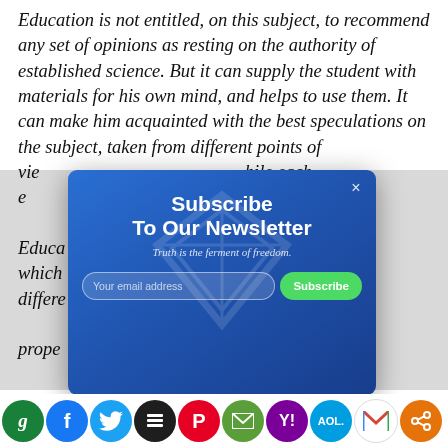Education is not entitled, on this subject, to recommend any set of opinions as resting on the authority of established science. But it can supply the student with materials for his own mind, and helps to use them. It can make him acquainted with the best speculations on the subject, taken from different points of view, while each em... nt, really ... Educa... facts which ... ly the differe... e been found ... prope...
[Figure (screenshot): Newsletter subscription modal overlay with blue gradient background, title 'Subscribe To Our Newsletter', tagline 'Truth is the ferment of freedom.', email input field, and green Subscribe button. Close (×) button in top right. Diamond/gem watermark in background.]
[Figure (infographic): Social sharing bar with circular icons: Greader (green g), Facebook (blue f), Twitter (blue bird), Buffer (black stack), Pinterest (red P), email (green envelope), Yahoo (purple Y), AOL (blue AOL), Gmail (M), share (orange).]